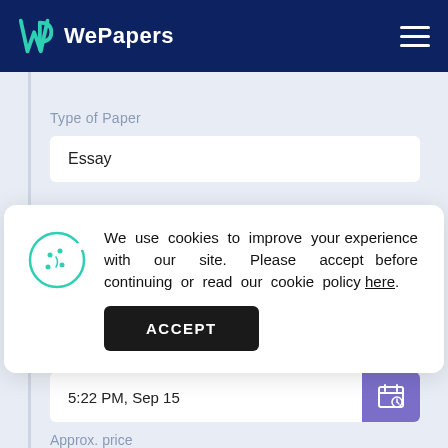WePapers
Type of Paper
Essay
We use cookies to improve your experience with our site. Please accept before continuing or read our cookie policy here.
ACCEPT
5:22 PM, Sep 15
Approx. price